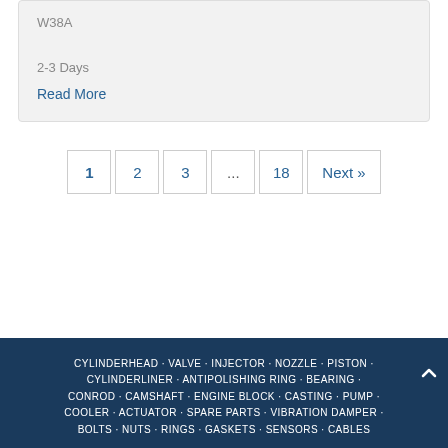W38A
2-3 Days
Read More
1 | 2 | 3 | ... | 18 | Next »
CYLINDERHEAD · VALVE · INJECTOR · NOZZLE · PISTON · CYLINDERLINER · ANTIPOLISHING RING · BEARING · CONROD · CAMSHAFT · ENGINE BLOCK · CASTING · PUMP · COOLER · ACTUATOR · SPARE PARTS · VIBRATION DAMPER · BOLTS · NUTS · RINGS · GASKETS · SENSORS · CABLES